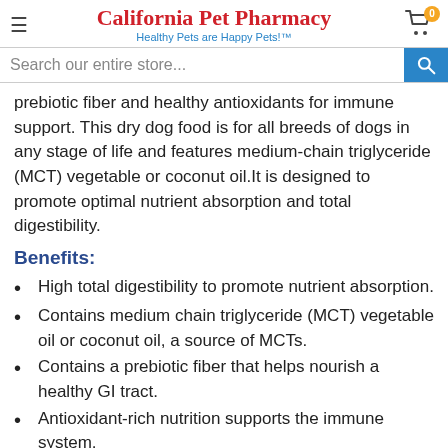California Pet Pharmacy — Healthy Pets are Happy Pets!™
Search our entire store...
prebiotic fiber and healthy antioxidants for immune support. This dry dog food is for all breeds of dogs in any stage of life and features medium-chain triglyceride (MCT) vegetable or coconut oil.It is designed to promote optimal nutrient absorption and total digestibility.
Benefits:
High total digestibility to promote nutrient absorption.
Contains medium chain triglyceride (MCT) vegetable oil or coconut oil, a source of MCTs.
Contains a prebiotic fiber that helps nourish a healthy GI tract.
Antioxidant-rich nutrition supports the immune system.